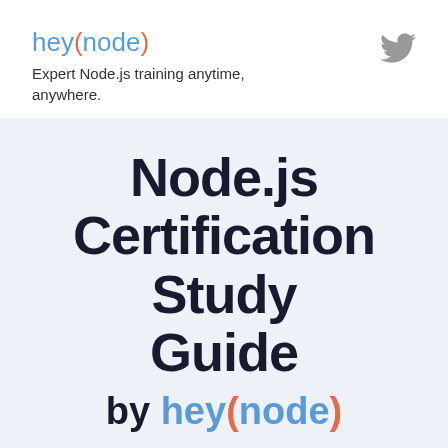[Figure (logo): hey(node) logo with tagline 'Expert Node.js training anytime, anywhere.' and Twitter bird icon]
Node.js Certification Study Guide
by hey(node)